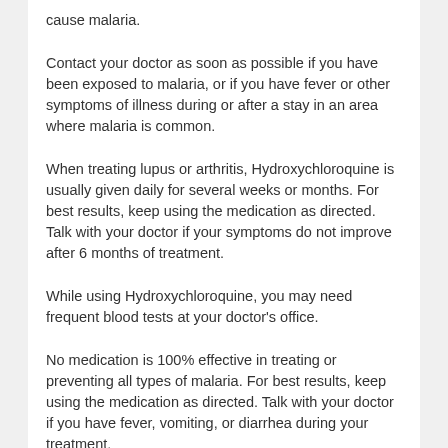cause malaria.
Contact your doctor as soon as possible if you have been exposed to malaria, or if you have fever or other symptoms of illness during or after a stay in an area where malaria is common.
When treating lupus or arthritis, Hydroxychloroquine is usually given daily for several weeks or months. For best results, keep using the medication as directed. Talk with your doctor if your symptoms do not improve after 6 months of treatment.
While using Hydroxychloroquine, you may need frequent blood tests at your doctor's office.
No medication is 100% effective in treating or preventing all types of malaria. For best results, keep using the medication as directed. Talk with your doctor if you have fever, vomiting, or diarrhea during your treatment.
Can plaquenil cause hypoglycemia